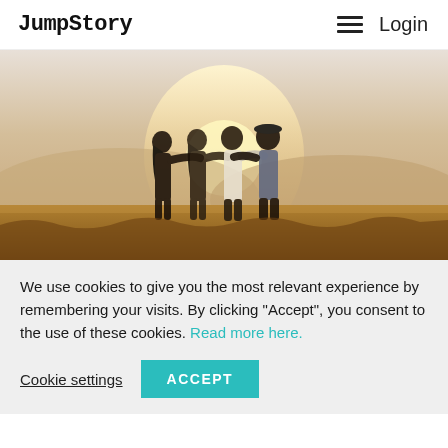JumpStory  Login
[Figure (photo): Four friends standing with arms around each other, viewed from behind, overlooking a landscape at sunset/sunrise with warm golden light]
We use cookies to give you the most relevant experience by remembering your visits. By clicking “Accept”, you consent to the use of these cookies. Read more here.
Cookie settings  ACCEPT